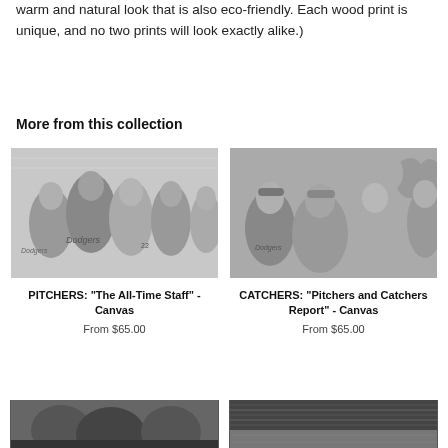warm and natural look that is also eco-friendly. Each wood print is unique, and no two prints will look exactly alike.)
More from this collection
[Figure (photo): Black and white illustration of Dodgers pitchers baseball players group portrait]
PITCHERS: "The All-Time Staff" - Canvas
From $65.00
[Figure (photo): Black and white illustration of Catchers baseball players group portrait]
CATCHERS: "Pitchers and Catchers Report" - Canvas
From $65.00
[Figure (photo): Partial view of baseball artwork bottom left]
[Figure (photo): Partial view of baseball stadium artwork bottom right]